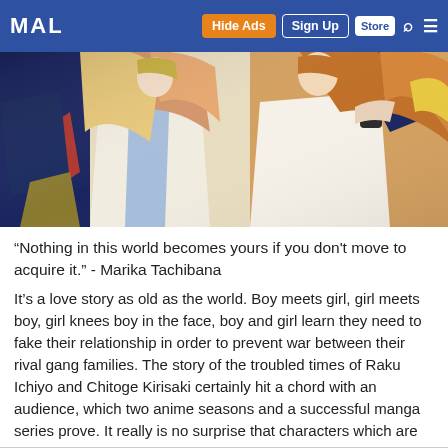MAL | Hide Ads | Sign Up | Store
[Figure (illustration): Anime illustration showing multiple characters with colorful hair (blonde, orange) wearing school uniforms against a dark/light background]
“Nothing in this world becomes yours if you don’t move to acquire it.” - Marika Tachibana
It’s a love story as old as the world. Boy meets girl, girl meets boy, girl knees boy in the face, boy and girl learn they need to fake their relationship in order to prevent war between their rival gang families. The story of the troubled times of Raku Ichiyo and Chitoge Kirisaki certainly hit a chord with an audience, which two anime seasons and a successful manga series prove. It really is no surprise that characters which are so loved would spawn a great number of awesome figures, and we are here to bring you the best of them. Let another Five Figure Friday begin.